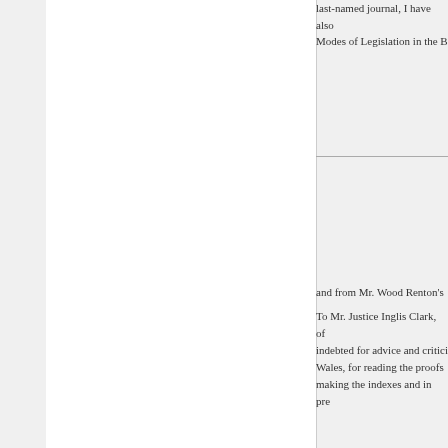last-named journal, I have also Modes of Legislation in the B
and from Mr. Wood Renton's
To Mr. Justice Inglis Clark, of indebted for advice and critici Wales, for reading the proofs making the indexes and in pre
W.H.M.
MELBOURNE, 1901.